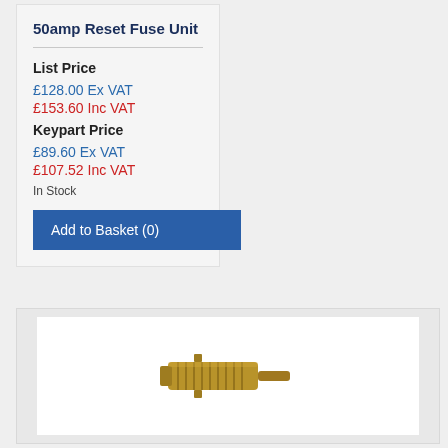50amp Reset Fuse Unit
List Price
£128.00 Ex VAT
£153.60 Inc VAT
Keypart Price
£89.60 Ex VAT
£107.52 Inc VAT
In Stock
Add to Basket (0)
[Figure (photo): Photo of a small brass 50amp reset fuse unit component with threaded body and pin connector]